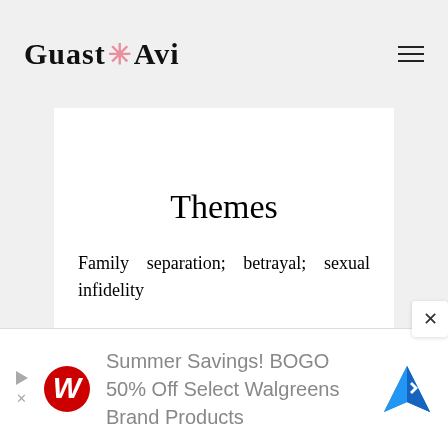Guast Avi
Themes
Family separation; betrayal; sexual infidelity
Violence
In the tradition of 'slapstick' comedy, this movie has almost constant physical and
[Figure (other): Advertisement banner: Summer Savings! BOGO 50% Off Select Walgreens Brand Products, with Walgreens logo and map/navigation icon]